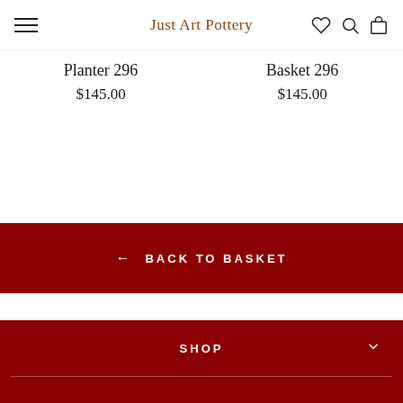Just Art Pottery
Planter 296
$145.00
Basket 296
$145.00
← BACK TO BASKET
SHOP